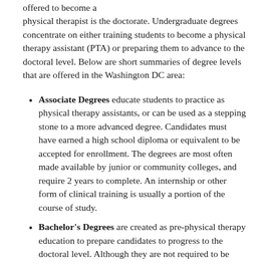offered to become a physical therapist is the doctorate. Undergraduate degrees concentrate on either training students to become a physical therapy assistant (PTA) or preparing them to advance to the doctoral level. Below are short summaries of degree levels that are offered in the Washington DC area:
Associate Degrees educate students to practice as physical therapy assistants, or can be used as a stepping stone to a more advanced degree. Candidates must have earned a high school diploma or equivalent to be accepted for enrollment. The degrees are most often made available by junior or community colleges, and require 2 years to complete. An internship or other form of clinical training is usually a portion of the course of study.
Bachelor's Degrees are created as pre-physical therapy education to prepare candidates to progress to the doctoral level. Although they are not required to be